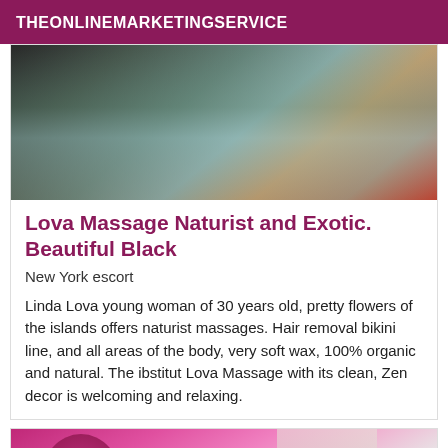THEONLINEMARKETINGSERVICE
[Figure (photo): Top portion of a decorative image showing a person in colorful clothing, partially cropped]
Lova Massage Naturist and Exotic. Beautiful Black
New York escort
Linda Lova young woman of 30 years old, pretty flowers of the islands offers naturist massages. Hair removal bikini line, and all areas of the body, very soft wax, 100% organic and natural. The ibstitut Lova Massage with its clean, Zen decor is welcoming and relaxing.
[Figure (photo): Bottom card showing a person with pink hair, partially visible, cropped at page bottom]